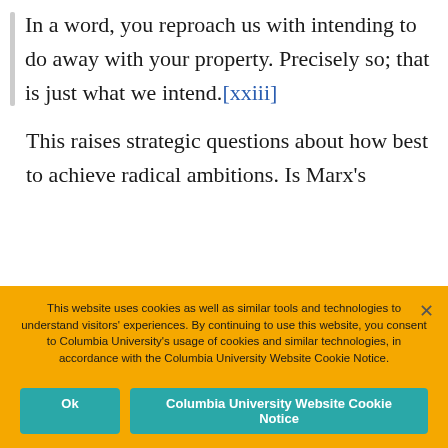In a word, you reproach us with intending to do away with your property. Precisely so; that is just what we intend.[xxiii]
This raises strategic questions about how best to achieve radical ambitions. Is Marx's
This website uses cookies as well as similar tools and technologies to understand visitors' experiences. By continuing to use this website, you consent to Columbia University's usage of cookies and similar technologies, in accordance with the Columbia University Website Cookie Notice.
Ok
Columbia University Website Cookie Notice